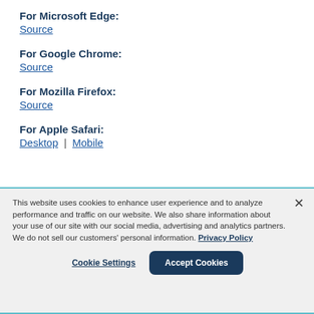For Microsoft Edge:
Source
For Google Chrome:
Source
For Mozilla Firefox:
Source
For Apple Safari:
Desktop | Mobile
This website uses cookies to enhance user experience and to analyze performance and traffic on our website. We also share information about your use of our site with our social media, advertising and analytics partners. We do not sell our customers' personal information. Privacy Policy
Cookie Settings
Accept Cookies